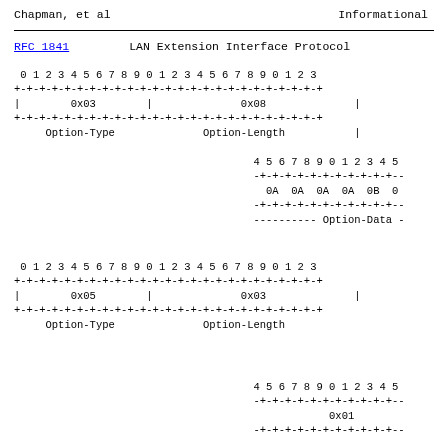Chapman, et al                    Informational
RFC 1841           LAN Extension Interface Protocol
[Figure (schematic): Bit field diagram showing Option-Type=0x03 and Option-Length=0x08 fields in a 24-bit wide packet header format, followed by Option-Data rows with values 0A 0A 0A 0A 0B]
[Figure (schematic): Bit field diagram showing Option-Type=0x05 and Option-Length=0x03 fields in a 24-bit wide packet header format, followed by Option-Data row with value 0x01]